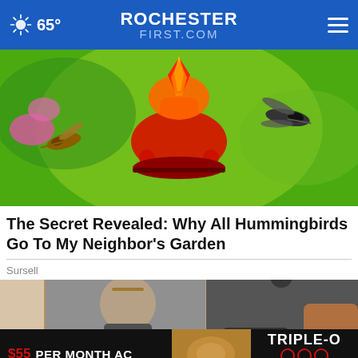65° ROCHESTER FIRST.COM
[Figure (photo): Colorful hummingbird feeder with red and yellow glass, surrounded by hummingbirds, green bokeh background]
The Secret Revealed: Why All Hummingbirds Go To My Neighbor's Garden
Sursell
[Figure (photo): Person wearing sandals and a sports bra/activewear outfit, fashion/lifestyle advertisement]
[Figure (infographic): Advertisement bar: '$55 PER MONTH AC' on left, center image of product, right shows 'TRIPLE-O' logo with HVAC · PLUMBING · ELECTRICAL tagline]